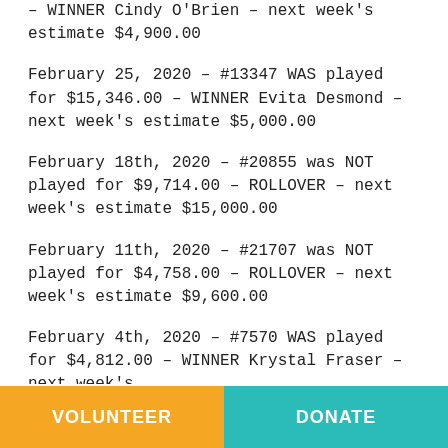– WINNER Cindy O'Brien – next week's estimate $4,900.00
February 25, 2020 – #13347 WAS played for $15,346.00 – WINNER Evita Desmond – next week's estimate $5,000.00
February 18th, 2020 – #20855 was NOT played for $9,714.00 – ROLLOVER – next week's estimate $15,000.00
February 11th, 2020 – #21707 was NOT played for $4,758.00 – ROLLOVER – next week's estimate $9,600.00
February 4th, 2020 – #7570 WAS played for $4,812.00 – WINNER Krystal Fraser – next week's